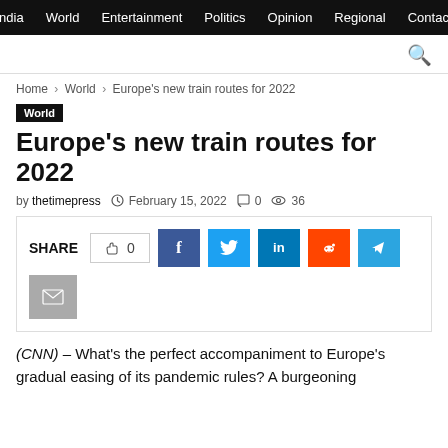India  World  Entertainment  Politics  Opinion  Regional  Contact
Home > World > Europe's new train routes for 2022
World
Europe's new train routes for 2022
by thetimepress  February 15, 2022  0  36
SHARE  0  f  t  in  reddit  telegram  email
(CNN) – What's the perfect accompaniment to Europe's gradual easing of its pandemic rules? A burgeoning